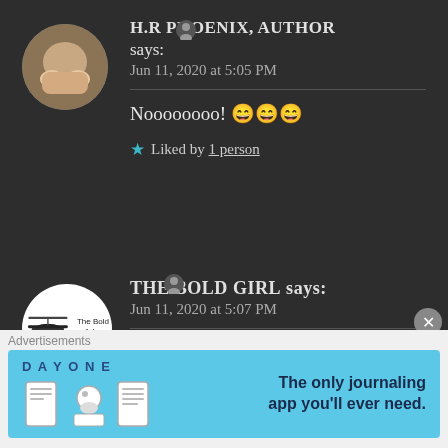H.R PHOENIX, AUTHOR says: Jun 11, 2020 at 5:05 PM
Noooooooo! 😄😄😄
★ Liked by 1 person
THE BOLD GIRL says: Jun 11, 2020 at 5:07 PM
Heheheh...🤣😄🤣😄
Advertisements
[Figure (screenshot): DAY ONE journaling app advertisement - The only journaling app you'll ever need.]